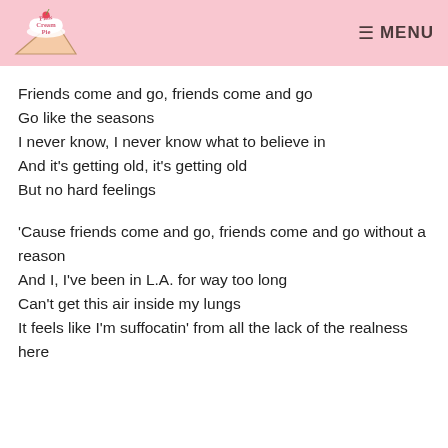Pink Cream Pie  MENU
Friends come and go, friends come and go
Go like the seasons
I never know, I never know what to believe in
And it's getting old, it's getting old
But no hard feelings
'Cause friends come and go, friends come and go without a reason
And I, I've been in L.A. for way too long
Can't get this air inside my lungs
It feels like I'm suffocatin' from all the lack of the realness here